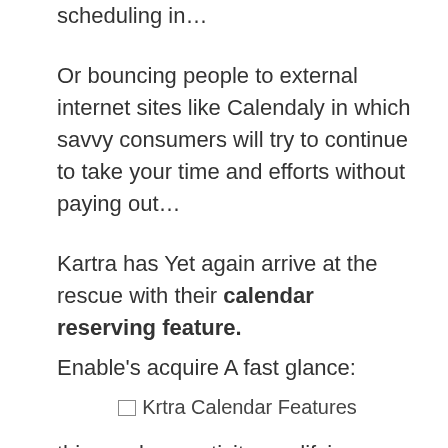scheduling in…
Or bouncing people to external internet sites like Calendaly in which savvy consumers will try to continue to take your time and efforts without paying out…
Kartra has Yet again arrive at the rescue with their calendar reserving feature.
Enable's acquire A fast glance:
[Figure (illustration): Broken image placeholder labeled 'Krtra Calendar Features']
this can be a activity-modifying element for Kartra people, because this scheduling aspect allows